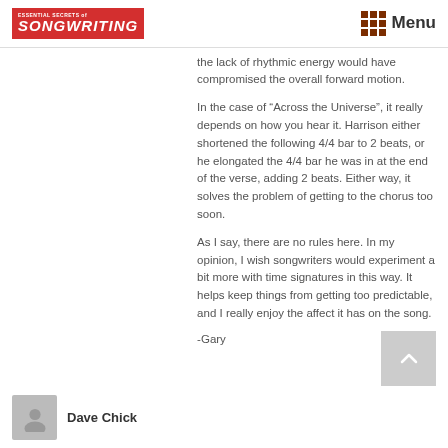ESSENTIAL SECRETS of SONGWRITING | Menu
the lack of rhythmic energy would have compromised the overall forward motion.
In the case of “Across the Universe”, it really depends on how you hear it. Harrison either shortened the following 4/4 bar to 2 beats, or he elongated the 4/4 bar he was in at the end of the verse, adding 2 beats. Either way, it solves the problem of getting to the chorus too soon.
As I say, there are no rules here. In my opinion, I wish songwriters would experiment a bit more with time signatures in this way. It helps keep things from getting too predictable, and I really enjoy the affect it has on the song.
-Gary
Dave Chick